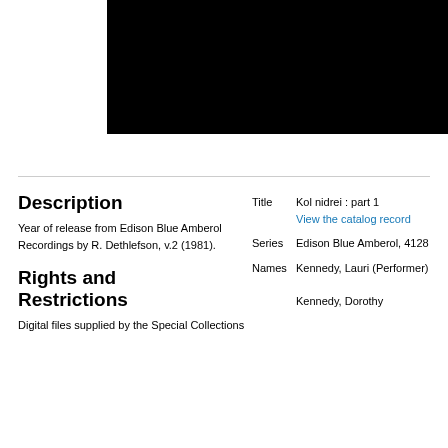[Figure (photo): Black rectangular image area in upper right portion of page]
Description
Year of release from Edison Blue Amberol Recordings by R. Dethlefson, v.2 (1981).
Rights and Restrictions
Digital files supplied by the Special Collections
| Field | Value |
| --- | --- |
| Title | Kol nidrei : part 1 |
|  | View the catalog record |
| Series | Edison Blue Amberol, 4128 |
| Names | Kennedy, Lauri (Performer) |
|  | Kennedy, Dorothy |